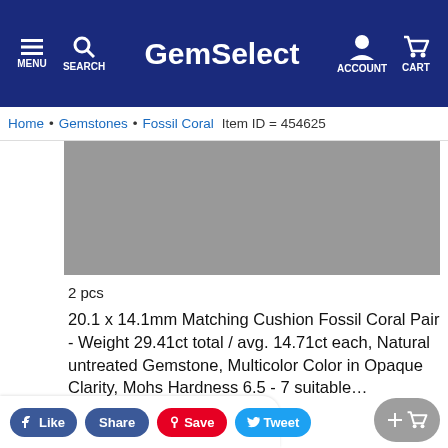GemSelect — MENU SEARCH ACCOUNT CART
Home > Gemstones > Fossil Coral   Item ID = 454625
[Figure (photo): Product image of Fossil Coral gemstones — gray stone background]
2 pcs
20.1 x 14.1mm Matching Cushion Fossil Coral Pair - Weight 29.41ct total / avg. 14.71ct each, Natural untreated Gemstone, Multicolor Color in Opaque Clarity, Mohs Hardness 6.5 - 7 suitable…
14.71 ct (total 29.41ctw)
20.1 x 14.1 mm
$ 32 35
Like   Share   Save   Tweet